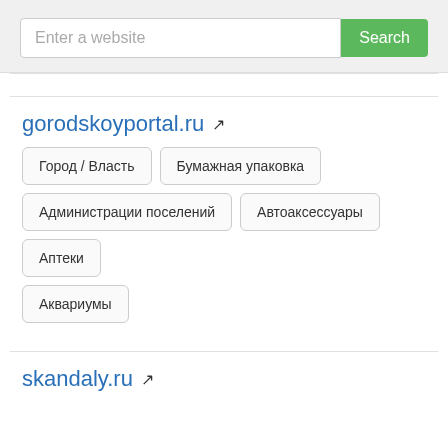Enter a website
Search
gorodskoyportal.ru
Город / Власть
Бумажная упаковка
Администрации поселений
Автоаксессуары
Аптеки
Аквариумы
skandaly.ru